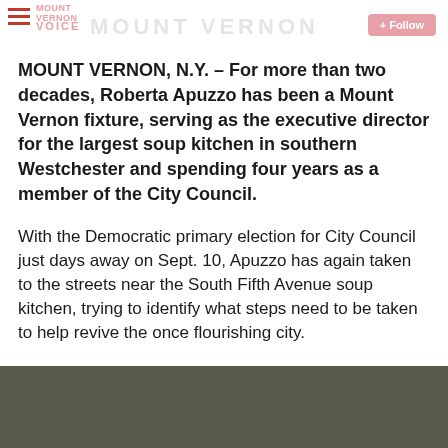MOUNT VERNON VOICE — + Follow
MOUNT VERNON, N.Y. – For more than two decades, Roberta Apuzzo has been a Mount Vernon fixture, serving as the executive director for the largest soup kitchen in southern Westchester and spending four years as a member of the City Council.
With the Democratic primary election for City Council just days away on Sept. 10, Apuzzo has again taken to the streets near the South Fifth Avenue soup kitchen, trying to identify what steps need to be taken to help revive the once flourishing city.